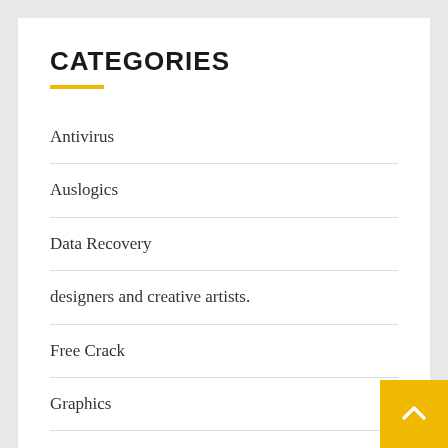CATEGORIES
Antivirus
Auslogics
Data Recovery
designers and creative artists.
Free Crack
Graphics
Internet Download Manager Crack
Modling